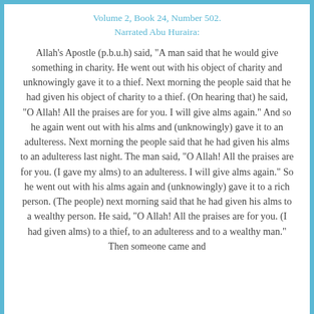Volume 2, Book 24, Number 502.
Narrated Abu Huraira:
Allah's Apostle (p.b.u.h) said, “A man said that he would give something in charity. He went out with his object of charity and unknowingly gave it to a thief. Next morning the people said that he had given his object of charity to a thief. (On hearing that) he said, “O Allah! All the praises are for you. I will give alms again.” And so he again went out with his alms and (unknowingly) gave it to an adulteress. Next morning the people said that he had given his alms to an adulteress last night. The man said, “O Allah! All the praises are for you. (I gave my alms) to an adulteress. I will give alms again.” So he went out with his alms again and (unknowingly) gave it to a rich person. (The people) next morning said that he had given his alms to a wealthy person. He said, “O Allah! All the praises are for you. (I had given alms) to a thief, to an adulteress and to a wealthy man.” Then someone came and